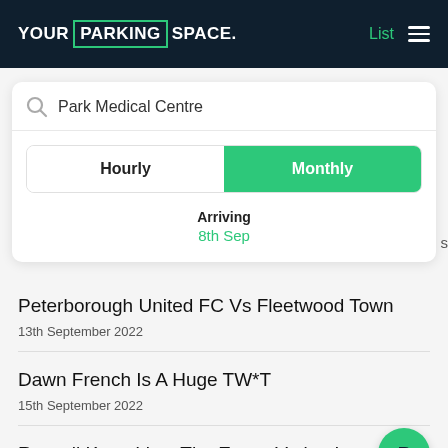[Figure (screenshot): Your Parking Space app logo in white on dark navy header background with teal border around PARKING word]
List
Park Medical Centre
Hourly
Monthly
Arriving
8th Sep
Peterborough United FC Vs Fleetwood Town
13th September 2022
Dawn French Is A Huge TW*T
15th September 2022
Russell Kane Live: The Essex Variant!
15th September 2022